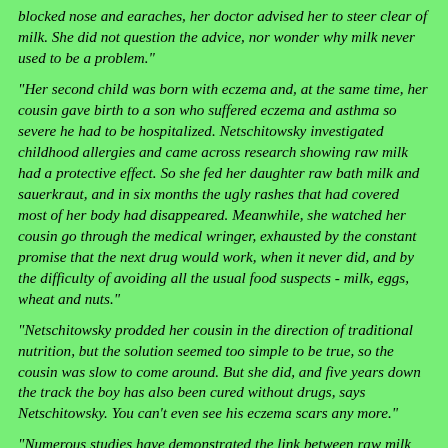blocked nose and earaches, her doctor advised her to steer clear of milk. She did not question the advice, nor wonder why milk never used to be a problem."
"Her second child was born with eczema and, at the same time, her cousin gave birth to a son who suffered eczema and asthma so severe he had to be hospitalized. Netschitowsky investigated childhood allergies and came across research showing raw milk had a protective effect. So she fed her daughter raw bath milk and sauerkraut, and in six months the ugly rashes that had covered most of her body had disappeared. Meanwhile, she watched her cousin go through the medical wringer, exhausted by the constant promise that the next drug would work, when it never did, and by the difficulty of avoiding all the usual food suspects - milk, eggs, wheat and nuts."
"Netschitowsky prodded her cousin in the direction of traditional nutrition, but the solution seemed too simple to be true, so the cousin was slow to come around. But she did, and five years down the track the boy has also been cured without drugs, says Netschitowsky. You can't even see his eczema scars any more."
"Numerous studies have demonstrated the link between raw milk consumption and lower rates of asthma, eczema and various allergies. But when a Food Standards Australia New Zealand